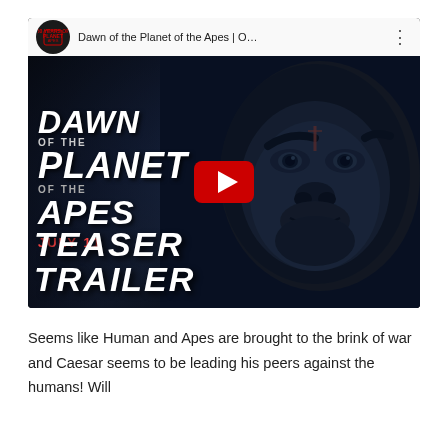[Figure (screenshot): YouTube video thumbnail for 'Dawn of the Planet of the Apes | O...' showing the movie teaser trailer. The thumbnail features a close-up of Caesar the ape's face on the right side against a dark background, movie logo text on the left reading 'DAWN OF THE PLANET OF THE APES JULY 11', and large white text at the bottom reading 'TEASER TRAILER'. A red YouTube play button is centered on the thumbnail. The YouTube top bar shows the channel logo and video title.]
Seems like Human and Apes are brought to the brink of war and Caesar seems to be leading his peers against the humans! Will